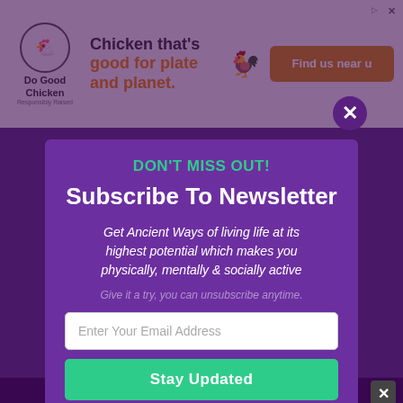[Figure (screenshot): Ad banner for Do Good Chicken brand at top of page]
[Figure (screenshot): Background website content showing yoga/wellness topics in purple]
DON'T MISS OUT!
Subscribe To Newsletter
Get Ancient Ways of living life at its highest potential which makes you physically, mentally & socially active
Give it a try, you can unsubscribe anytime.
Enter Your Email Address
Stay Updated
Powered by Convert Plus